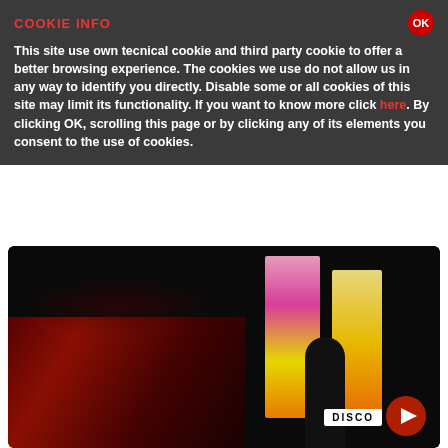COOKIE INFO
This site use own tecnical cookie and third party cookie to offer a better browsing experience. The cookies we use do not allow us in any way to identify you directly. Disable some or all cookies of this site may limit its functionality. If you want to know more click here. By clicking OK, scrolling this page or by clicking any of its elements you consent to the use of cookies.
golden years of disco music but also the funky and soul music . These Deejays were the pioneers in Italy : they works just in the same years in which , in the United States , there was talk of Studio 54 , Paradise Garage , Loft and Larry Levan , Tom Moulton , Walter Gibbons , Tony Mancuso .
[Figure (photo): Dark concert/club scene with colorful LED panels on the right side, a DISCO sign visible, and a red play button overlay in the bottom right corner. The left side shows red/dark lighting effects.]